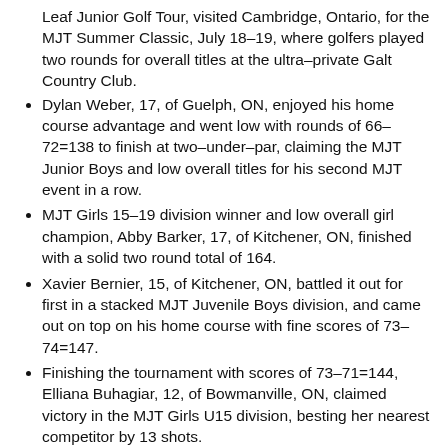Leaf Junior Golf Tour, visited Cambridge, Ontario, for the MJT Summer Classic, July 18–19, where golfers played two rounds for overall titles at the ultra-private Galt Country Club.
Dylan Weber, 17, of Guelph, ON, enjoyed his home course advantage and went low with rounds of 66–72=138 to finish at two-under-par, claiming the MJT Junior Boys and low overall titles for his second MJT event in a row.
MJT Girls 15–19 division winner and low overall girl champion, Abby Barker, 17, of Kitchener, ON, finished with a solid two round total of 164.
Xavier Bernier, 15, of Kitchener, ON, battled it out for first in a stacked MJT Juvenile Boys division, and came out on top on his home course with fine scores of 73–74=147.
Finishing the tournament with scores of 73–71=144, Elliana Buhagiar, 12, of Bowmanville, ON, claimed victory in the MJT Girls U15 division, besting her nearest competitor by 13 shots.
Jiapeng Lu, 13, of Markham, ON, earned a win in the MJT Bantam Boys division by a playoff, and finished with total score of 154.
Zack Clark, 11, of St Thomas, ON, shot 86,91=177 to win the MJT Peewee Boys division title.
Long Drive, Closest to the Pin and Booster Juice Bounceback award winners are posted on the website.